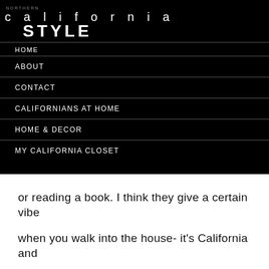NORTHERN california STYLE
HOME
ABOUT
CONTACT
CALIFORNIANS AT HOME
HOME & DECOR
MY CALIFORNIA CLOSET
or reading a book. I think they give a certain vibe when you walk into the house- it’s California and a little vintage casual.